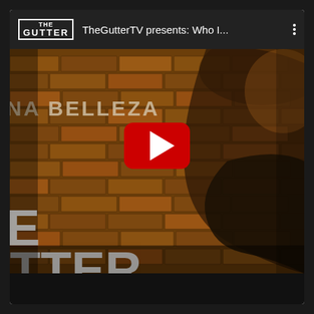[Figure (screenshot): YouTube video card showing TheGutterTV channel. Top bar with 'THE GUTTER' logo and title 'TheGutterTV presents: Who I...' with three-dot menu. Video thumbnail shows a person wearing a scarf/jacket against a brick wall background with text 'NA BELLEZA' and 'TTER' (The Gutter logo letters) overlaid. A YouTube play button (red rounded rectangle with white triangle) is centered on the thumbnail. Black bar at bottom.]